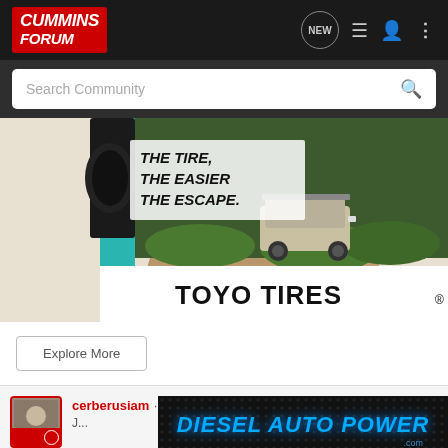Cummins Forum
Search Community
[Figure (photo): Toyo Tires advertisement showing an off-road vehicle on a dirt trail in a forest with text 'THE TIRE, THE EASIER THE ESCAPE.' and the TOYO TIRES logo at the bottom]
Explore More
cerberusiam · Premium Member 🇺🇸
[Figure (photo): Diesel Auto Power .com advertisement banner with blue glowing text on dark background]